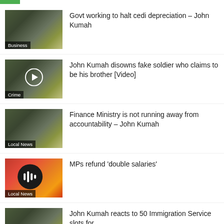Govt working to halt cedi depreciation – John Kumah
John Kumah disowns fake soldier who claims to be his brother [Video]
Finance Ministry is not running away from accountability – John Kumah
MPs refund 'double salaries'
John Kumah reacts to 50 Immigration Service slots for